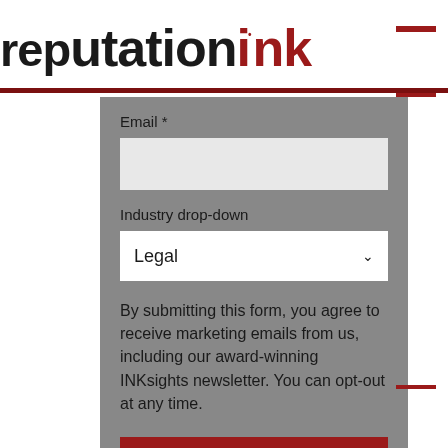[Figure (logo): Reputation Ink logo — 'rep' in lowercase black bold, 'utation' in lowercase black bold, 'ink' in lowercase dark red bold, with a red accent dot above the 'i'. Red horizontal dash in top right.]
Email *
Industry drop-down
Legal
By submitting this form, you agree to receive marketing emails from us, including our award-winning INKsights newsletter. You can opt-out at any time.
INKsights me up!